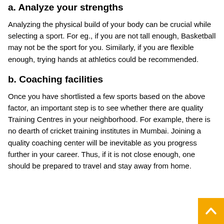a. Analyze your strengths
Analyzing the physical build of your body can be crucial while selecting a sport. For eg., if you are not tall enough, Basketball may not be the sport for you. Similarly, if you are flexible enough, trying hands at athletics could be recommended.
b. Coaching facilities
Once you have shortlisted a few sports based on the above factor, an important step is to see whether there are quality Training Centres in your neighborhood. For example, there is no dearth of cricket training institutes in Mumbai. Joining a quality coaching center will be inevitable as you progress further in your career. Thus, if it is not close enough, one should be prepared to travel and stay away from home.